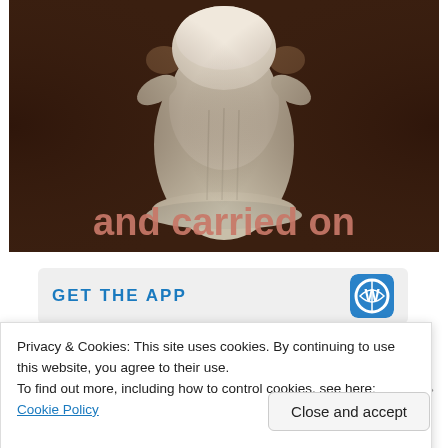[Figure (photo): Vintage sepia photograph of a baby in white clothing held up, with overlaid bold text 'and carried on' in pink/salmon color]
GET THE APP
Privacy & Cookies: This site uses cookies. By continuing to use this website, you agree to their use.
To find out more, including how to control cookies, see here:
Cookie Policy
Close and accept